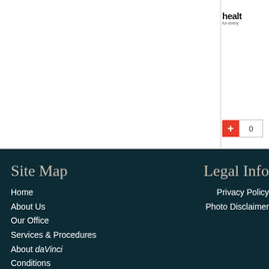[Figure (logo): Partial health website logo in upper right — 'healt' visible with 'for every' tagline below]
[Figure (other): Red plus button with count box showing 0]
Site Map
Home
About Us
Our Office
Services & Procedures
About daVinci
Conditions
Contact Us
Legal Info
Privacy Policy
Photo Disclaimer